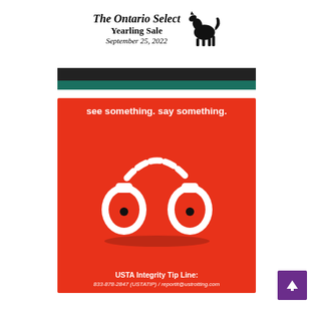[Figure (illustration): The Ontario Select Yearling Sale advertisement with horse silhouette, dated September 25, 2022]
[Figure (illustration): Dark and green horizontal bars separator]
[Figure (infographic): USTA Integrity Tip Line red advertisement with handcuffs illustration. Text: 'see something. say something.' and 'USTA Integrity Tip Line: 833-878-2847 (USTATIP) / reportit@ustrotting.com']
[Figure (illustration): Purple scroll-to-top button with upward arrow in bottom right corner]